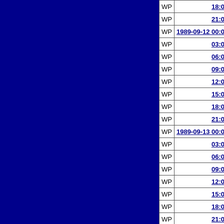|  | Datetime |  | Value |
| --- | --- | --- | --- |
| WP | 18:00:00 | TS | 34.1... |
| WP | 21:00:00 | TS | 34.5... |
| WP | 1989-09-12 00:00:00 | TS | 35.0... |
| WP | 03:00:00 | TS | 35.3... |
| WP | 06:00:00 | TS | 35.6... |
| WP | 09:00:00 | TS | 35.9... |
| WP | 12:00:00 | TS | 36.1... |
| WP | 15:00:00 | TS | 36.3... |
| WP | 18:00:00 | TS | 36.6... |
| WP | 21:00:00 | TS | 36.8... |
| WP | 1989-09-13 00:00:00 | TS | 36.9... |
| WP | 03:00:00 | TS | 36.9... |
| WP | 06:00:00 | TS | 36.9... |
| WP | 09:00:00 | TS | 36.8... |
| WP | 12:00:00 | TS | 36.6... |
| WP | 15:00:00 | TS | 36.3... |
| WP | 18:00:00 | TS | 36.1... |
| WP | 21:00:00 | TS | 36.0... |
| WP | 1989-09-14 00:00:00 | TS | 36.0... |
| WP | 03:00:00 | TS | 36.0... |